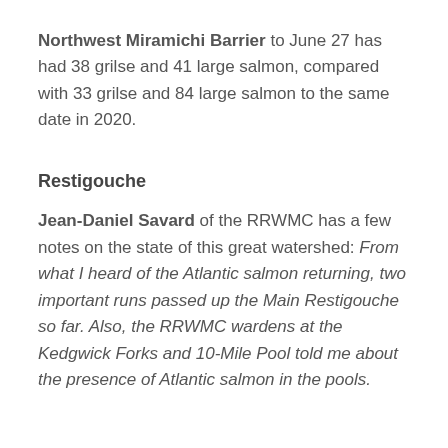Northwest Miramichi Barrier to June 27 has had 38 grilse and 41 large salmon, compared with 33 grilse and 84 large salmon to the same date in 2020.
Restigouche
Jean-Daniel Savard of the RRWMC has a few notes on the state of this great watershed: From what I heard of the Atlantic salmon returning, two important runs passed up the Main Restigouche so far. Also, the RRWMC wardens at the Kedgwick Forks and 10-Mile Pool told me about the presence of Atlantic salmon in the pools.